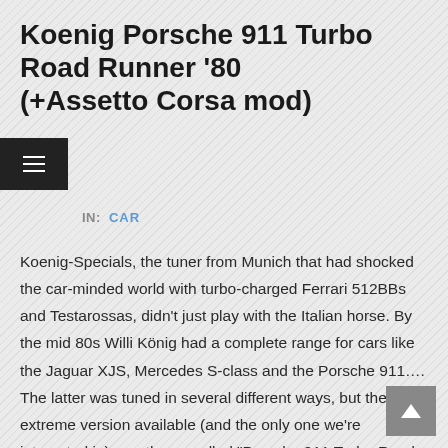Koenig Porsche 911 Turbo Road Runner '80 (+Assetto Corsa mod)
IN:  CAR
Koenig-Specials, the tuner from Munich that had shocked the car-minded world with turbo-charged Ferrari 512BBs and Testarossas, didn't just play with the Italian horse. By the mid 80s Willi König had a complete range for cars like the Jaguar XJS, Mercedes S-class and the Porsche 911.... The latter was tuned in several different ways, but the most extreme version available (and the only one we're interested in) was the so called "Porsche 911 Turbo Road Runner". Based on the Porsche 911 (930) Turbo, Koenig-Specials' version of the 911 was fitted with a rather extreme widebody kit made from glass-fibre, which included new